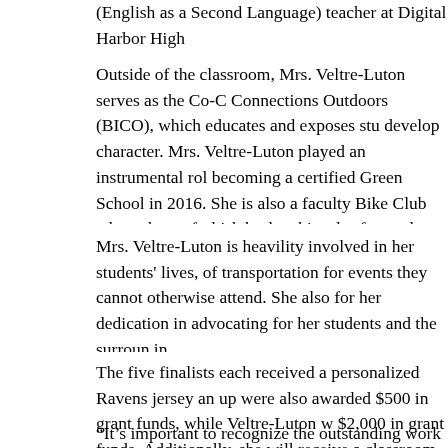(English as a Second Language) teacher at Digital Harbor High
Outside of the classroom, Mrs. Veltre-Luton serves as the Co-C Connections Outdoors (BICO), which educates and exposes stu develop character. Mrs. Veltre-Luton played an instrumental rol becoming a certified Green School in 2016. She is also a faculty Bike Club where they refurbish broken bicycles for student use.
Mrs. Veltre-Luton is heavility involved in her students' lives, of transportation for events they cannot otherwise attend. She also for her dedication in advocating for her students and the surroun in.
The five finalists each received a personalized Ravens jersey an up were also awarded $500 in grant funds, while Veltre-Luton w $2,000 in grant funds. Additionally, she will receive a classroom accompanied by Ravens mascot Poe and cheerleaders before the year. (Details to follow the week of the event.)
“It’s important to recognize the outstanding work our teachers a